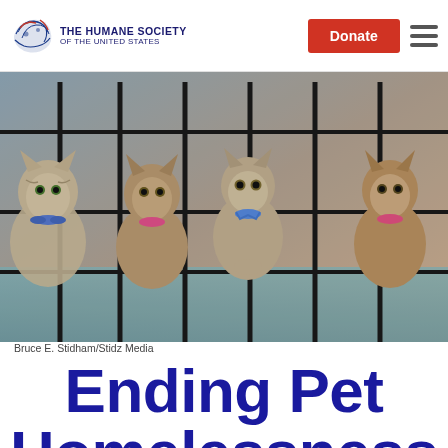THE HUMANE SOCIETY OF THE UNITED STATES | Donate | Menu
[Figure (photo): Five tabby kittens in a wire cage, wearing colorful collars (blue, pink, blue, pink), looking out through the bars.]
Bruce E. Stidham/Stidz Media
Ending Pet Homelessness